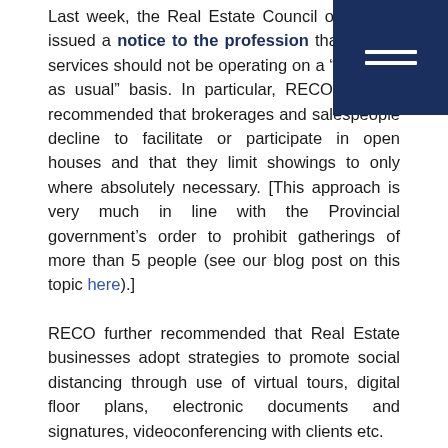Last week, the Real Estate Council of Ontario issued a notice to the profession that current services should not be operating on a "business as usual" basis. In particular, RECO strongly recommended that brokerages and salespeople decline to facilitate or participate in open houses and that they limit showings to only where absolutely necessary. [This approach is very much in line with the Provincial government's order to prohibit gatherings of more than 5 people (see our blog post on this topic here).]
RECO further recommended that Real Estate businesses adopt strategies to promote social distancing through use of virtual tours, digital floor plans, electronic documents and signatures, videoconferencing with clients etc.
Ultimately, as with all measures recommended by Public Health professionals across the country, there should be a concerted effort toward reducing (and where possible, eliminating) physical interactions between individuals